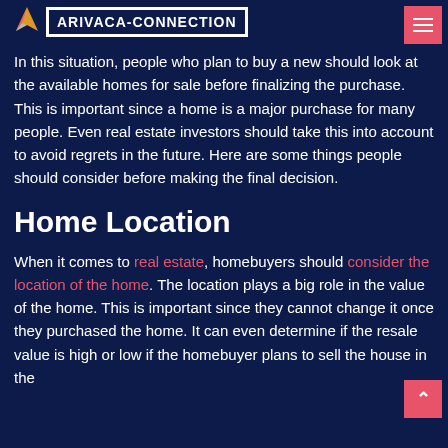ARIVACA-CONNECTION
In this situation, people who plan to buy a new should look at the available homes for sale before finalizing the purchase. This is important since a home is a major purchase for many people. Even real estate investors should take this into account to avoid regrets in the future. Here are some things people should consider before making the final decision.
Home Location
When it comes to real estate, homebuyers should consider the location of the home. The location plays a big role in the value of the home. This is important since they cannot change it once they purchased the home. It can even determine if the resale value is high or low if the homebuyer plans to sell the house in the